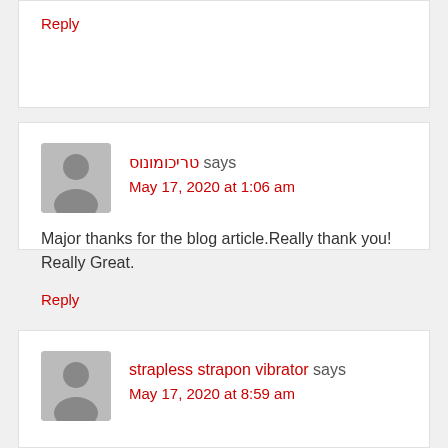Reply
טריכומונוס says
May 17, 2020 at 1:06 am
Major thanks for the blog article.Really thank you! Really Great.
Reply
strapless strapon vibrator says
May 17, 2020 at 8:59 am